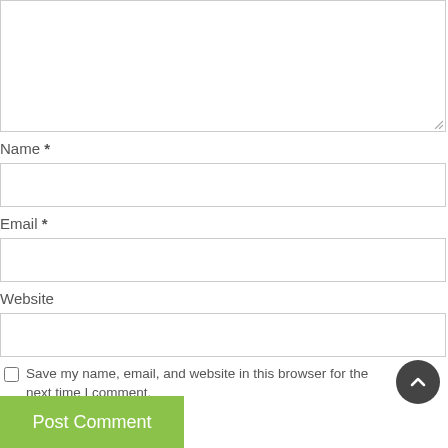[Figure (screenshot): Large textarea input box for comment text, with resize handle at bottom-right corner]
Name *
[Figure (screenshot): Single-line text input box for Name field]
Email *
[Figure (screenshot): Single-line text input box for Email field]
Website
[Figure (screenshot): Single-line text input box for Website field]
Save my name, email, and website in this browser for the next time I comment.
Post Comment